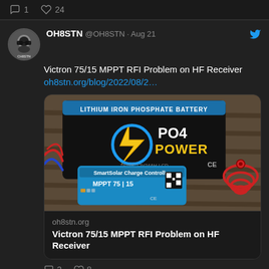[Figure (screenshot): Top bar with comment icon showing 1 and heart icon showing 24 on dark background]
OH8STN @OH8STN · Aug 21
Victron 75/15 MPPT RFI Problem on HF Receiver oh8stn.org/blog/2022/08/2…
[Figure (photo): Photo showing a LiFePO4 battery labeled 'Lithium Iron Phosphate Battery PO4 Power ZP4MC12V24AH-LCD' with a Victron SmartSolar MPPT 75|15 solar charge controller in front, red coiled cables visible on the right, wooden deck surface in background]
oh8stn.org
Victron 75/15 MPPT RFI Problem on HF Receiver
2 comments, 8 likes